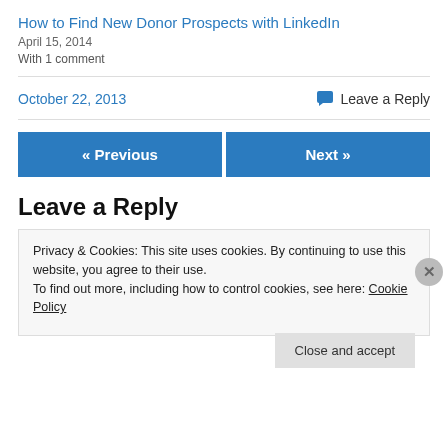How to Find New Donor Prospects with LinkedIn
April 15, 2014
With 1 comment
October 22, 2013
Leave a Reply
« Previous
Next »
Leave a Reply
Privacy & Cookies: This site uses cookies. By continuing to use this website, you agree to their use.
To find out more, including how to control cookies, see here: Cookie Policy
Close and accept